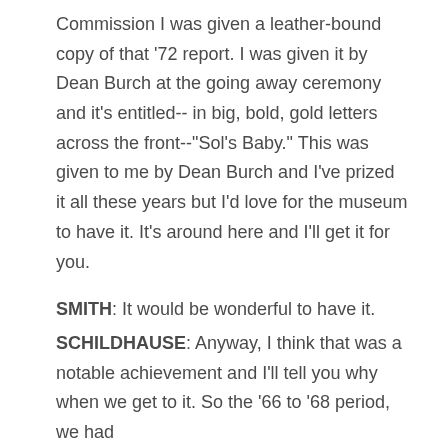Commission I was given a leather-bound copy of that '72 report. I was given it by Dean Burch at the going away ceremony and it's entitled-- in big, bold, gold letters across the front--"Sol's Baby." This was given to me by Dean Burch and I've prized it all these years but I'd love for the museum to have it. It's around here and I'll get it for you.
SMITH: It would be wonderful to have it.
SCHILDHAUSE: Anyway, I think that was a notable achievement and I'll tell you why when we get to it. So the '66 to '68 period, we had